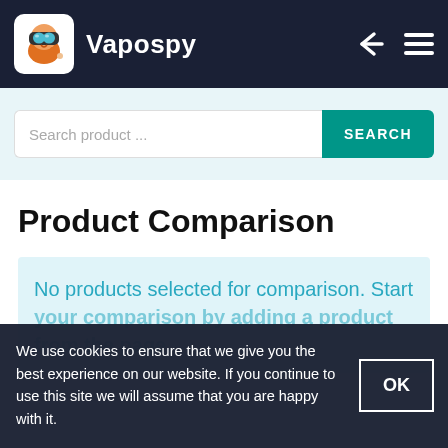Vapospy
Search product ...
Product Comparison
No products selected for comparison. Start your comparison by adding a product from the page.
We use cookies to ensure that we give you the best experience on our website. If you continue to use this site we will assume that you are happy with it.